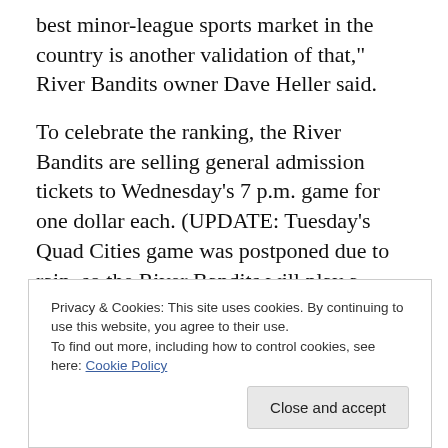best minor-league sports market in the country is another validation of that," River Bandits owner Dave Heller said.
To celebrate the ranking, the River Bandits are selling general admission tickets to Wednesday's 7 p.m. game for one dollar each. (UPDATE: Tuesday's Quad Cities game was postponed due to rain, so the River Bandits will play a doubleheader at 6 p.m. Wednesday. The dollar deal remains in effect.)
Here are links to what SBJ wrote about the Quad Cities, Fort Wayne and Grand Rapids markets:
Privacy & Cookies: This site uses cookies. By continuing to use this website, you agree to their use.
To find out more, including how to control cookies, see here: Cookie Policy